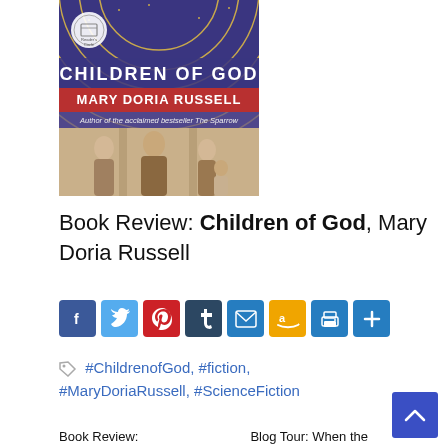[Figure (photo): Book cover of 'Children of God' by Mary Doria Russell. Blue/purple astronomical background with gold rings, red banner with author name, and figures in a fresco-style painting below. Includes a Reader's Circle medallion.]
Book Review: Children of God, Mary Doria Russell
[Figure (other): Social sharing buttons row: Facebook (blue), Twitter (blue), Pinterest (red), Tumblr (dark blue), Email (blue), Amazon (orange), Print (blue), Share/Plus (blue)]
#ChildrenofGod, #fiction, #MaryDoriaRussell, #ScienceFiction
Book Review: | Blog Tour: When the